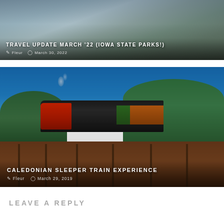[Figure (photo): Travel blog card with rocky waterfall/nature scene background. Title overlay: TRAVEL UPDATE MARCH '22 (IOWA STATE PARKS!). Author: Fleur, Date: March 30, 2022.]
[Figure (photo): Travel blog card showing a steam locomotive on a tall railway trestle bridge surrounded by green forest under a bright blue sky. Title overlay: CALEDONIAN SLEEPER TRAIN EXPERIENCE. Author: Fleur, Date: March 29, 2019.]
LEAVE A REPLY